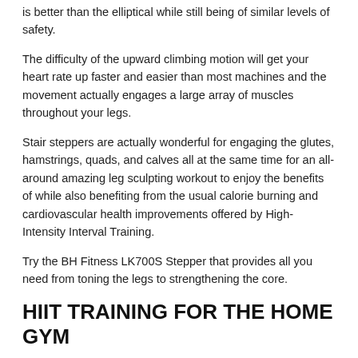is better than the elliptical while still being of similar levels of safety.
The difficulty of the upward climbing motion will get your heart rate up faster and easier than most machines and the movement actually engages a large array of muscles throughout your legs.
Stair steppers are actually wonderful for engaging the glutes, hamstrings, quads, and calves all at the same time for an all-around amazing leg sculpting workout to enjoy the benefits of while also benefiting from the usual calorie burning and cardiovascular health improvements offered by High-Intensity Interval Training.
Try the BH Fitness LK700S Stepper that provides all you need from toning the legs to strengthening the core.
HIIT TRAINING FOR THE HOME GYM
For those looking to get the fat-burning benefits of HIIT training inside their own home, these styles of machines are also great for having a small profile compared to treadmills and ellipticals.